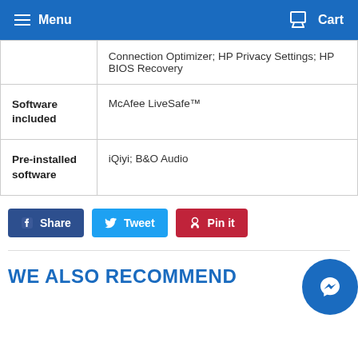Menu  Cart
| Connection Optimizer; HP Privacy Settings; HP BIOS Recovery |  |
| Software included | McAfee LiveSafe™ |
| Pre-installed software | iQiyi; B&O Audio |
Share  Tweet  Pin it
WE ALSO RECOMMEND